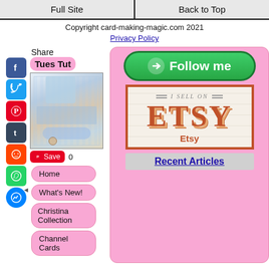Full Site | Back to Top
Copyright card-making-magic.com 2021
Privacy Policy
Share
[Figure (photo): Handmade greeting card with blue ribbon bow and floral embellishments]
Tues Tut
Save 0
Home
What's New!
Christina Collection
Channel Cards
[Figure (illustration): Green Follow me button with arrow icon]
[Figure (logo): I Sell on Etsy badge/logo with orange ETSY lettering]
Etsy
Recent Articles